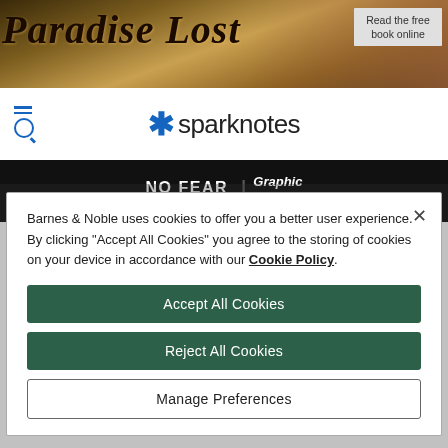[Figure (screenshot): Paradise Lost book banner with gothic title text and illustrated background showing figures]
[Figure (logo): SparkNotes logo with blue asterisk and hamburger/search nav icon on white navbar]
[Figure (screenshot): No Fear Shakespeare Graphic Novels promotional banner on dark background]
Barnes & Noble uses cookies to offer you a better user experience. By clicking "Accept All Cookies" you agree to the storing of cookies on your device in accordance with our Cookie Policy.
Accept All Cookies
Reject All Cookies
Manage Preferences